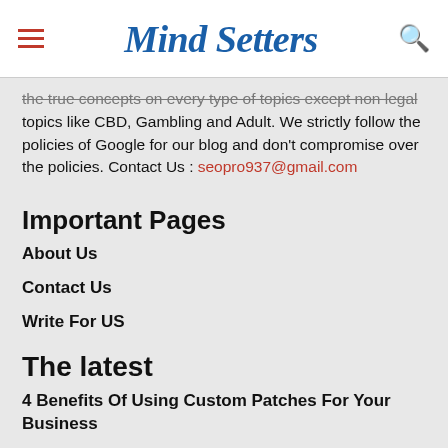Mind Setters
the true concepts on every type of topics except non legal topics like CBD, Gambling and Adult. We strictly follow the policies of Google for our blog and don't compromise over the policies. Contact Us : seopro937@gmail.com
Important Pages
About Us
Contact Us
Write For US
The latest
4 Benefits Of Using Custom Patches For Your Business